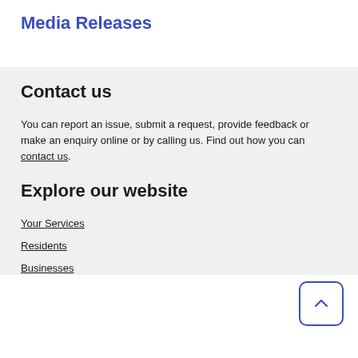Media Releases
Contact us
You can report an issue, submit a request, provide feedback or make an enquiry online or by calling us. Find out how you can contact us.
Explore our website
Your Services
Residents
Businesses